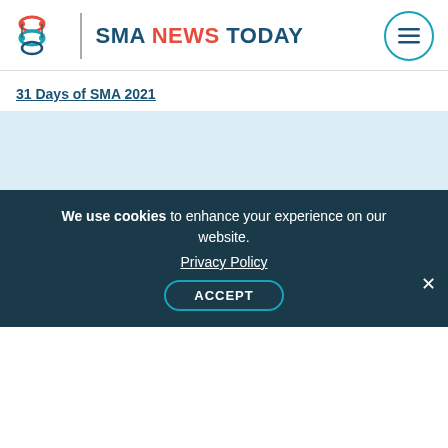SMA NEWS TODAY
31 Days of SMA 2021
[Figure (illustration): Illustration of documents/files on a light blue background, partially visible at bottom of page]
We use cookies to enhance your experience on our website. Privacy Policy ACCEPT